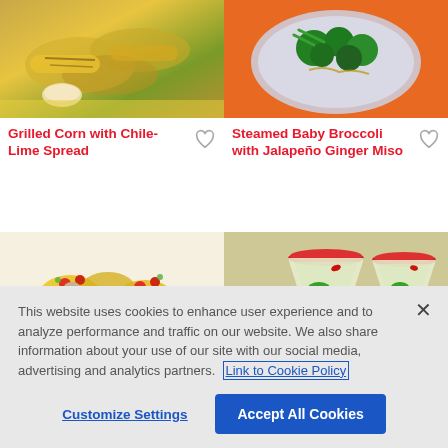[Figure (photo): Grilled corn on the cob with husks and a small bowl of chile-lime spread on a yellow cloth]
[Figure (photo): Steamed baby broccoli with jalapeño ginger miso on a plate with an orange background]
Grilled Corn with Chile-Lime Spread
Steamed Baby Broccoli with Jalapeño Ginger Miso
[Figure (photo): Yellow polenta or corn cakes topped with tomatoes and mushrooms on a plate]
[Figure (photo): Two margarita glasses with jalapeño slices and red chile rimmed with red salt]
This website uses cookies to enhance user experience and to analyze performance and traffic on our website. We also share information about your use of our site with our social media, advertising and analytics partners. Link to Cookie Policy
Customize Settings
Accept All Cookies